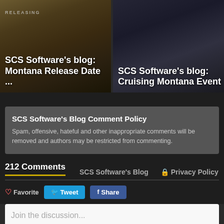[Figure (screenshot): Two blog post cards side by side: left card shows 'SCS Software's blog: Montana Release Date ...' with a dark game screenshot background; right card shows 'SCS Software's blog: Cruising Montana Event' with a dark car/road screenshot background.]
SCS Software's Blog Comment Policy
Spam, offensive, hateful and other inappropriate comments will be removed and authors may be restricted from commenting.
212 Comments
SCS Software's Blog
Privacy Policy
Favorite
Tweet
Share
Join the discussion...
LOG IN WITH
OR SIGN UP WITH DISQUS
Name